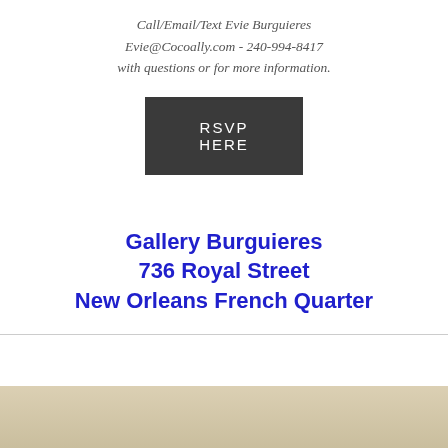Call/Email/Text Evie Burguieres
Evie@Cocoally.com - 240-994-8417
with questions or for more information.
RSVP HERE
Gallery Burguieres
736 Royal Street
New Orleans French Quarter
[Figure (photo): Decorative image at the bottom of the page with a tan/sepia tone background, partially visible.]